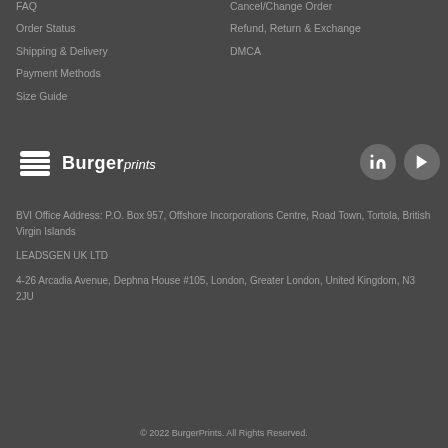FAQ
Cancel/Change Order
Order Status
Refund, Return & Exchange
Shipping & Delivery
DMCA
Payment Methods
Size Guide
[Figure (logo): BurgerPrints logo with burger icon and brand name]
BVI Office Address: P.O. Box 957, Offshore Incorporations Centre, Road Town, Tortola, British Virgin Islands
LEADSGEN UK LTD
4-26 Arcadia Avenue, Dephna House #105, London, Greater London, United Kingdom, N3 2JU
© 2022 BurgerPrints. All Rights Reserved.